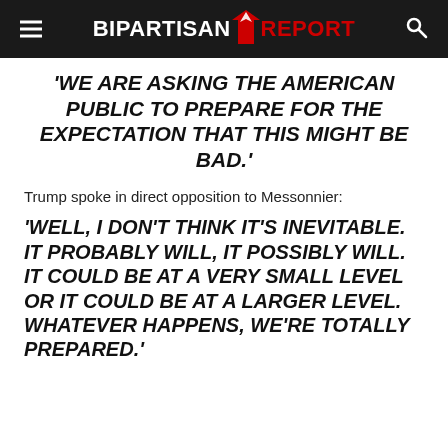BIPARTISAN REPORT
'WE ARE ASKING THE AMERICAN PUBLIC TO PREPARE FOR THE EXPECTATION THAT THIS MIGHT BE BAD.'
Trump spoke in direct opposition to Messonnier:
'WELL, I DON'T THINK IT'S INEVITABLE. IT PROBABLY WILL, IT POSSIBLY WILL. IT COULD BE AT A VERY SMALL LEVEL OR IT COULD BE AT A LARGER LEVEL. WHATEVER HAPPENS, WE'RE TOTALLY PREPARED.'